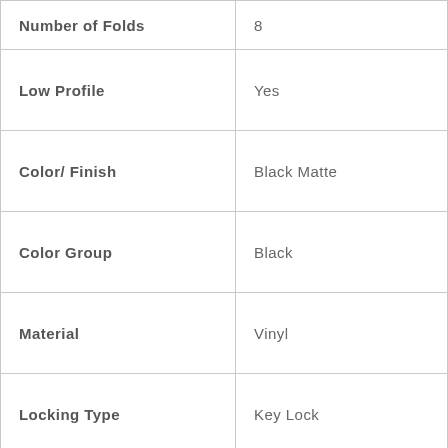| Attribute | Value |
| --- | --- |
| Number of Folds | 8 |
| Low Profile | Yes |
| Color/ Finish | Black Matte |
| Color Group | Black |
| Material | Vinyl |
| Locking Type | Key Lock |